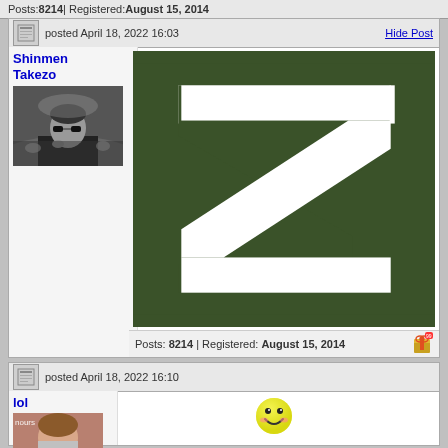Posts: 8214 | Registered: August 15, 2014
Shinmen Takezo
[Figure (photo): Black and white avatar photo of older man with sunglasses]
posted April 18, 2022 16:03
Hide Post
[Figure (illustration): White letter Z on dark military green background]
Posts: 8214 | Registered: August 15, 2014
lol
[Figure (photo): Partial avatar photo of person]
posted April 18, 2022 16:10
[Figure (illustration): Yellow smiley face emoji/emoticon]